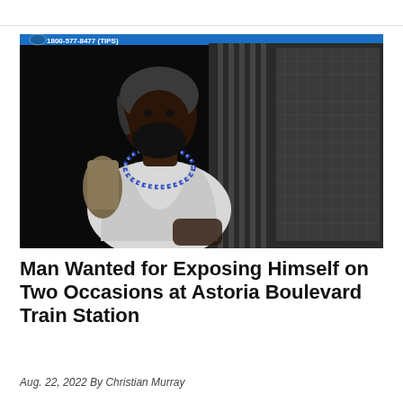[Figure (photo): Security camera still image of a man wearing a dark head covering and white t-shirt with a blue beaded necklace and backpack, seated near a gate at the Astoria Boulevard Train Station. NYPD tip line 1800-577-8477 (TIPS) shown in upper left corner.]
Man Wanted for Exposing Himself on Two Occasions at Astoria Boulevard Train Station
Aug. 22, 2022 By Christian Murray